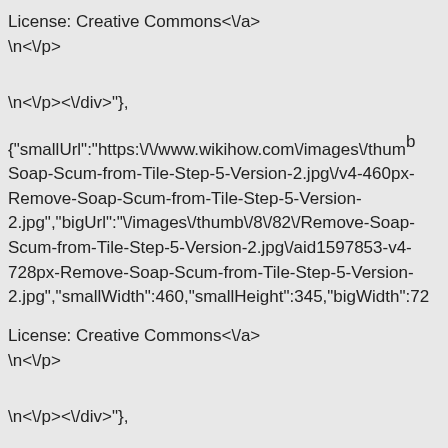License: Creative Commons<\/a>
\n<\/p>
\n<\/p><\/div>"},
{"smallUrl":"https:\/\/www.wikihow.com\/images\/thumb Soap-Scum-from-Tile-Step-5-Version-2.jpg\/v4-460px-Remove-Soap-Scum-from-Tile-Step-5-Version-2.jpg","bigUrl":"\/images\/thumb\/8\/82\/Remove-Soap-Scum-from-Tile-Step-5-Version-2.jpg\/aid1597853-v4-728px-Remove-Soap-Scum-from-Tile-Step-5-Version-2.jpg","smallWidth":460,"smallHeight":345,"bigWidth":72
License: Creative Commons<\/a>
\n<\/p>
\n<\/p><\/div>"},